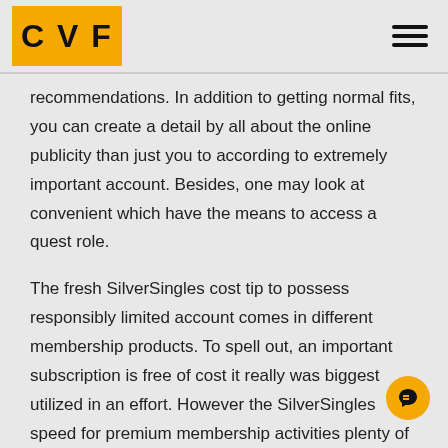CVF
recommendations. In addition to getting normal fits, you can create a detail by all about the online publicity than just you to according to extremely important account. Besides, one may look at convenient which have the means to access a quest role.
The fresh SilverSingles cost tip to possess responsibly limited account comes in different membership products. To spell out, an important subscription is free of cost it really was biggest utilized in an effort. However the SilverSingles speed for premium membership activities plenty of use of an internet single men and women some